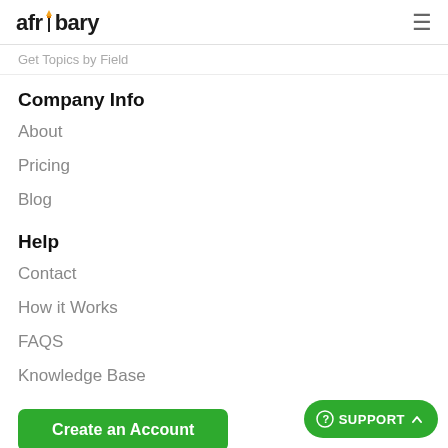afribary
Get Topics by Field
Company Info
About
Pricing
Blog
Help
Contact
How it Works
FAQS
Knowledge Base
Create an Account
[Figure (infographic): Social media icons: Facebook, Twitter, LinkedIn, Instagram]
SUPPORT